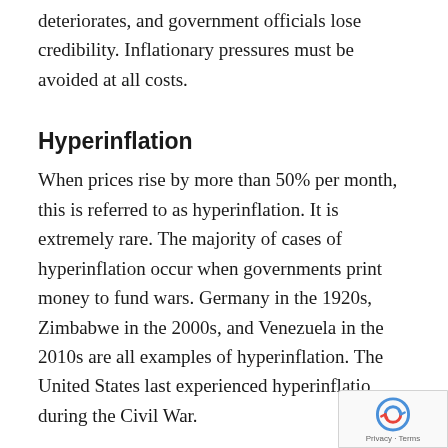deteriorates, and government officials lose credibility. Inflationary pressures must be avoided at all costs.
Hyperinflation
When prices rise by more than 50% per month, this is referred to as hyperinflation. It is extremely rare. The majority of cases of hyperinflation occur when governments print money to fund wars. Germany in the 1920s, Zimbabwe in the 2000s, and Venezuela in the 2010s are all examples of hyperinflation. The United States last experienced hyperinflation during the Civil War.